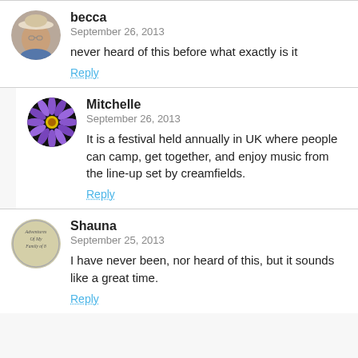[Figure (illustration): Circular avatar photo of 'becca' — a woman wearing a hat]
becca
September 26, 2013
never heard of this before what exactly is it
Reply
[Figure (illustration): Circular avatar image of a purple flower (water lily) on dark background for 'Mitchelle']
Mitchelle
September 26, 2013
It is a festival held annually in UK where people can camp, get together, and enjoy music from the line-up set by creamfields.
Reply
[Figure (illustration): Circular avatar with handwritten text 'Adventures Of My Family of 8' for 'Shauna']
Shauna
September 25, 2013
I have never been, nor heard of this, but it sounds like a great time.
Reply